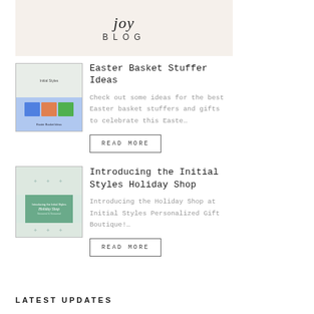[Figure (screenshot): Blog header image with keyboard and text reading 'BLOG' with decorative script above it]
[Figure (photo): Thumbnail image for Easter Basket Stuffer Ideas article showing colorful Easter basket items]
Easter Basket Stuffer Ideas
Check out some ideas for the best Easter basket stuffers and gifts to celebrate this Easte…
READ MORE
[Figure (photo): Thumbnail image for Introducing the Initial Styles Holiday Shop article showing holiday shop promotional image]
Introducing the Initial Styles Holiday Shop
Introducing the Holiday Shop at Initial Styles Personalized Gift Boutique!…
READ MORE
LATEST UPDATES